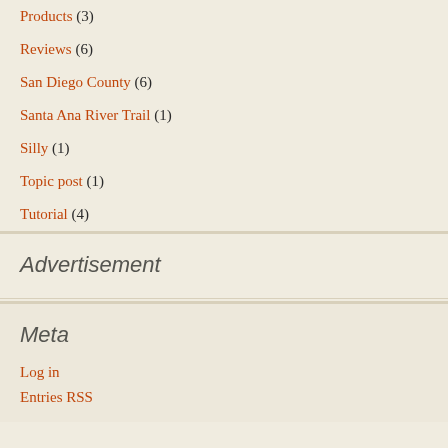Products (3)
Reviews (6)
San Diego County (6)
Santa Ana River Trail (1)
Silly (1)
Topic post (1)
Tutorial (4)
Advertisement
Meta
Log in
Entries RSS